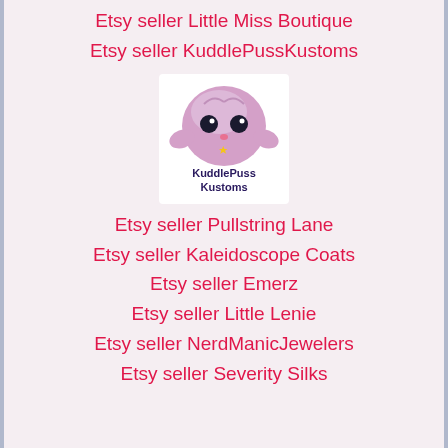Etsy seller Little Miss Boutique
Etsy seller KuddlePussKustoms
[Figure (logo): KuddlePuss Kustoms logo: a cute pink/purple chubby creature with big dark eyes and a small star, with text 'KuddlePuss Kustoms' below it]
Etsy seller Pullstring Lane
Etsy seller Kaleidoscope Coats
Etsy seller Emerz
Etsy seller Little Lenie
Etsy seller NerdManicJewelers
Etsy seller Severity Silks